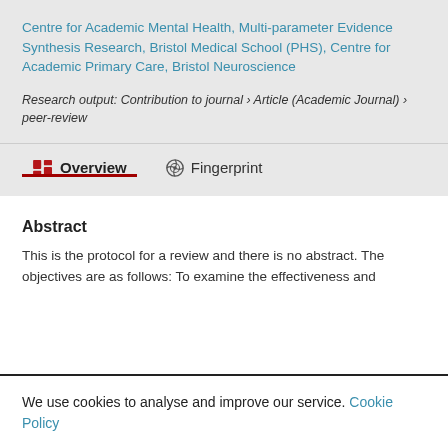Centre for Academic Mental Health, Multi-parameter Evidence Synthesis Research, Bristol Medical School (PHS), Centre for Academic Primary Care, Bristol Neuroscience
Research output: Contribution to journal › Article (Academic Journal) › peer-review
Overview
Fingerprint
Abstract
This is the protocol for a review and there is no abstract. The objectives are as follows: To examine the effectiveness and
We use cookies to analyse and improve our service. Cookie Policy